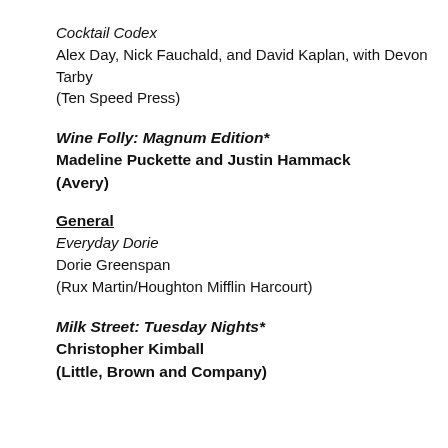Cocktail Codex
Alex Day, Nick Fauchald, and David Kaplan, with Devon Tarby
(Ten Speed Press)
Wine Folly: Magnum Edition*
Madeline Puckette and Justin Hammack
(Avery)
General
Everyday Dorie
Dorie Greenspan
(Rux Martin/Houghton Mifflin Harcourt)
Milk Street: Tuesday Nights*
Christopher Kimball
(Little, Brown and Company)